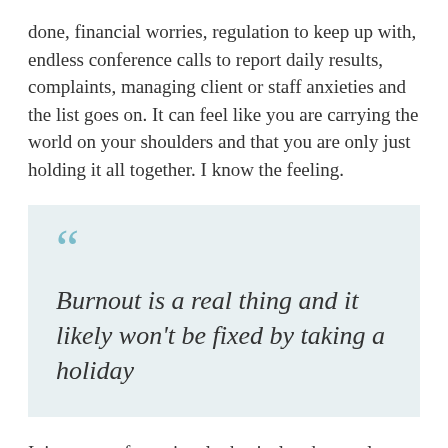done, financial worries, regulation to keep up with, endless conference calls to report daily results, complaints, managing client or staff anxieties and the list goes on. It can feel like you are carrying the world on your shoulders and that you are only just holding it all together. I know the feeling.
Burnout is a real thing and it likely won't be fixed by taking a holiday
It is a state of emotional, physical and mental exhaustion caused by chronic work stress over an